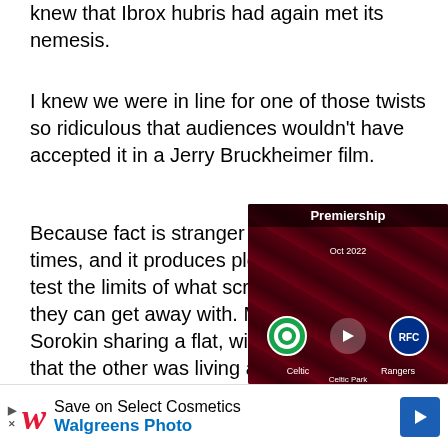The moment Ramsey stepped up to take that spot kick, I knew that Ibrox hubris had again met its nemesis.
I knew we were in line for one of those twists so ridiculous that audiences wouldn't have accepted it in a Jerry Bruckheimer film.
Because fact is stranger than fiction at times, and it produces plotlines which would test the limits of what screenwriters think they can get away with. McFarland and Sorokin sharing a flat, without one knowing that the other was living a lie just as large? You couldn't have invented that. People would never have believed it.
Ramsey stepping up to take that penalty, with all the hysteria surrounding the signing, everyone mocking it … who else had no get the ending that story deserved
[Figure (screenshot): Video player overlay showing a Premiership match between Celtic and Rangers at Celtic Park, with a play button in the center, team badges on either side, on a dark red geometric background.]
[Figure (screenshot): Walgreens Photo advertisement banner: Save on Select Cosmetics, with Walgreens logo and a blue navigation arrow button.]
But no